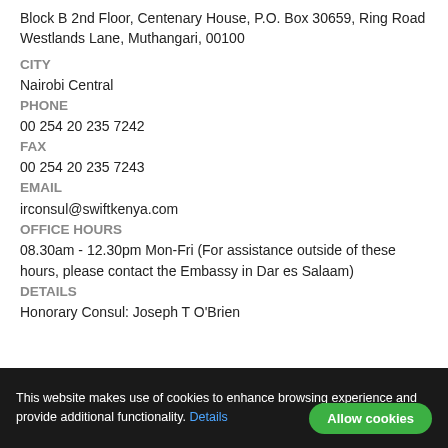Block B 2nd Floor, Centenary House, P.O. Box 30659, Ring Road Westlands Lane, Muthangari, 00100
CITY
Nairobi Central
PHONE
00 254 20 235 7242
FAX
00 254 20 235 7243
EMAIL
irconsul@swiftkenya.com
OFFICE HOURS
08.30am - 12.30pm Mon-Fri (For assistance outside of these hours, please contact the Embassy in Dar es Salaam)
DETAILS
Honorary Consul: Joseph T O'Brien
This website makes use of cookies to enhance browsing experience and provide additional functionality. Details Allow cookies